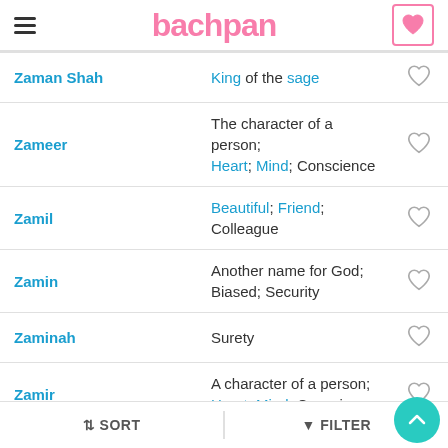bachpan
| Name | Meaning |  |
| --- | --- | --- |
| Zaman Shah | King of the sage | ♡ |
| Zameer | The character of a person; Heart; Mind; Conscience | ♡ |
| Zamil | Beautiful; Friend; Colleague | ♡ |
| Zamin | Another name for God; Biased; Security | ♡ |
| Zaminah | Surety | ♡ |
| Zamir | A character of a person; Heart; Mind; Conscience | ♡ |
| Zamiruddin | Heart of the religion (Islam) | ♡ |
SORT   FILTER